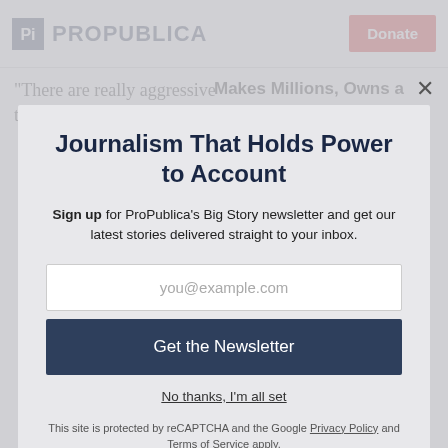ProPublica | Donate
“There are really aggressive tactics being
Makes Millions, Owns a Collection Agency and Pledged Support to the P...
Journalism That Holds Power to Account
Sign up for ProPublica’s Big Story newsletter and get our latest stories delivered straight to your inbox.
you@example.com
Get the Newsletter
No thanks, I’m all set
This site is protected by reCAPTCHA and the Google Privacy Policy and Terms of Service apply.